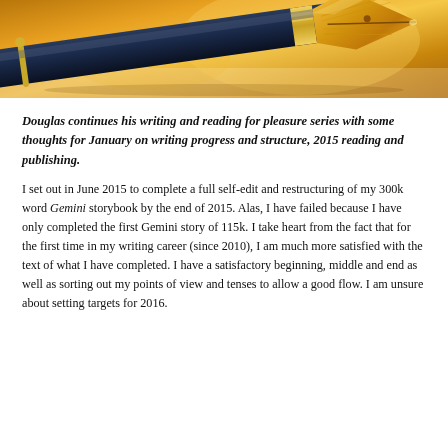[Figure (photo): Close-up photograph of a gold fountain pen nib against a warm orange/golden background]
Douglas continues his writing and reading for pleasure series with some thoughts for January on writing progress and structure, 2015 reading and publishing.
I set out in June 2015 to complete a full self-edit and restructuring of my 300k word Gemini storybook by the end of 2015. Alas, I have failed because I have only completed the first Gemini story of 115k. I take heart from the fact that for the first time in my writing career (since 2010), I am much more satisfied with the text of what I have completed. I have a satisfactory beginning, middle and end as well as sorting out my points of view and tenses to allow a good flow. I am unsure about setting targets for 2016.